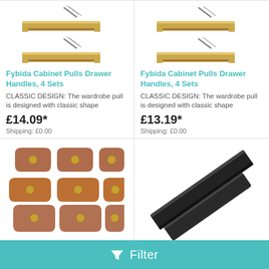[Figure (photo): Gold/brass cabinet drawer pulls with screws, 4 sets — left product]
[Figure (photo): Gold/brass cabinet drawer pulls with screws, 4 sets — right product]
Fybida Cabinet Pulls Drawer Handles, 4 Sets
CLASSIC DESIGN: The wardrobe pull is designed with classic shape
£14.09*
Shipping: £0.00
Fybida Cabinet Pulls Drawer Handles, 4 Sets
CLASSIC DESIGN: The wardrobe pull is designed with classic shape
£13.19*
Shipping: £0.00
[Figure (photo): Brown leather drawer pulls/handles with gold screws, multiple pieces]
[Figure (photo): Black slim bar cabinet pull handle, close-up diagonal view]
Filter